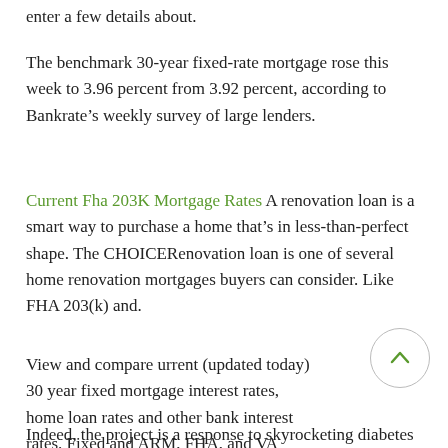enter a few details about.
The benchmark 30-year fixed-rate mortgage rose this week to 3.96 percent from 3.92 percent, according to Bankrate’s weekly survey of large lenders.
Current Fha 203K Mortgage Rates A renovation loan is a smart way to purchase a home that’s in less-than-perfect shape. The CHOICERenovation loan is one of several home renovation mortgages buyers can consider. Like FHA 203(k) and.
View and compare urrent (updated today) 30 year fixed mortgage interest rates, home loan rates and other bank interest rates. Fixed and ARM, FHA, and VA rates.
Indeed, the project is a response to skyrocketing diabetes